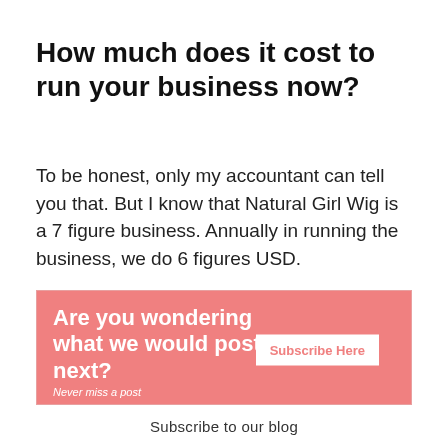How much does it cost to run your business now?
To be honest, only my accountant can tell you that. But I know that Natural Girl Wig is a 7 figure business. Annually in running the business, we do 6 figures USD.
[Figure (infographic): Pink banner with text 'Are you wondering what we would post next?' and subtitle 'Never miss a post' with a white 'Subscribe Here' button on the right.]
Subscribe to our blog